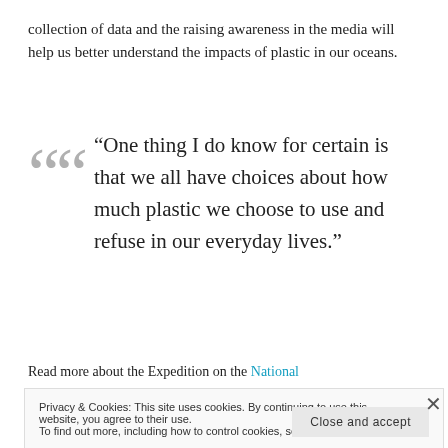collection of data and the raising awareness in the media will help us better understand the impacts of plastic in our oceans.
“One thing I do know for certain is that we all have choices about how much plastic we choose to use and refuse in our everyday lives.”
Read more about the Expedition on the National
Privacy & Cookies: This site uses cookies. By continuing to use this website, you agree to their use.
To find out more, including how to control cookies, see here: Cookie Policy
Close and accept